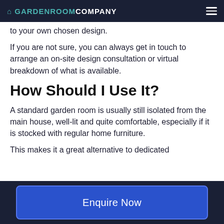GARDENROOMCOMPANY
to your own chosen design.
If you are not sure, you can always get in touch to arrange an on-site design consultation or virtual breakdown of what is available.
How Should I Use It?
A standard garden room is usually still isolated from the main house, well-lit and quite comfortable, especially if it is stocked with regular home furniture.
This makes it a great alternative to dedicated
Enquire Now